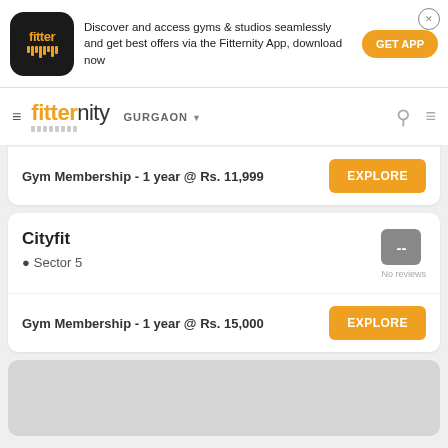[Figure (screenshot): Fitternity app advertisement banner with logo, text and GET APP button]
fitternity GURGAON
Gym Membership - 1 year @ Rs. 11,999 EXPLORE
Cityfit Sector 5 No reviews Gym Membership - 1 year @ Rs. 15,000 EXPLORE
[Figure (other): Partially visible gray card at bottom]